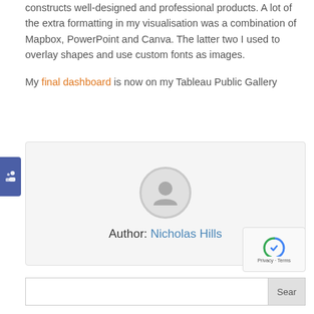constructs well-designed and professional products. A lot of the extra formatting in my visualisation was a combination of Mapbox, PowerPoint and Canva. The latter two I used to overlay shapes and use custom fonts as images.
My final dashboard is now on my Tableau Public Gallery
[Figure (other): Author profile box with avatar silhouette icon and author name: Nicholas Hills]
Search